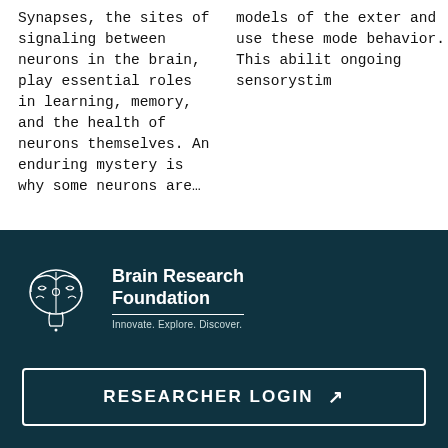Synapses, the sites of signaling between neurons in the brain, play essential roles in learning, memory, and the health of neurons themselves. An enduring mystery is why some neurons are…
models of the extern and use these mode behavior. This abilit ongoing sensorystim
[Figure (logo): Brain Research Foundation logo: line-art brain icon with white outline on dark teal background, next to bold white text 'Brain Research Foundation' with tagline 'Innovate. Explore. Discover.']
RESEARCHER LOGIN ↗